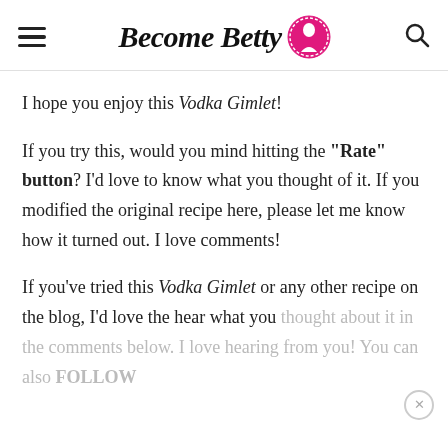Become Betty
I hope you enjoy this Vodka Gimlet!
If you try this, would you mind hitting the “Rate” button? I’d love to know what you thought of it. If you modified the original recipe here, please let me know how it turned out. I love comments!
If you’ve tried this Vodka Gimlet or any other recipe on the blog, I’d love the hear what you thought about it in the comments below. I love hearing from you! You can also FOLLOW